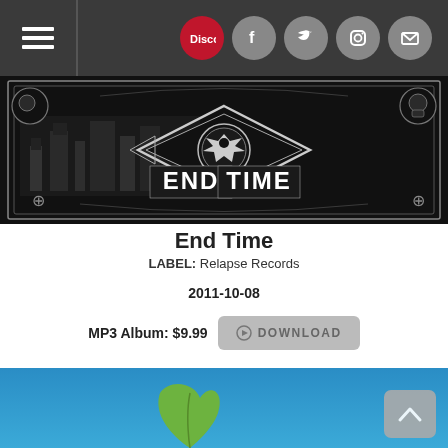Navigation bar with hamburger menu and social icons (Discogs, Facebook, Twitter, Instagram, Mail)
[Figure (illustration): Black and white album cover art for 'End Time' showing an eagle emblem inside a diamond shape with industrial imagery and the words END TIME]
End Time
LABEL: Relapse Records
2011-10-08
MP3 Album: $9.99   DOWNLOAD
[Figure (illustration): Blue sky background with a green leaf illustration visible at the bottom, and a back-to-top arrow button in the lower right corner]